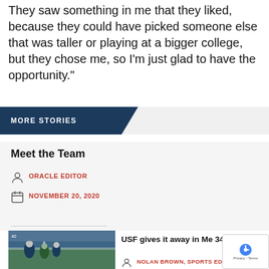They saw something in me that they liked, because they could have picked someone else that was taller or playing at a bigger college, but they chose me, so I'm just glad to have the opportunity."
MORE STORIES
Meet the Team
ORACLE EDITOR
NOVEMBER 20, 2020
[Figure (photo): Football game action photo, players on field]
USF gives it away in Me 34-33
NOLAN BROWN, SPORTS EDITOR